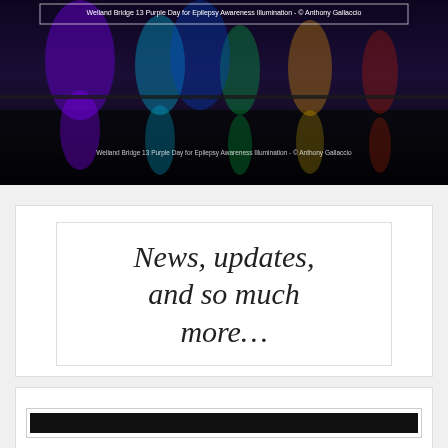[Figure (photo): Dark nighttime photograph of Welland Bridge 13 illuminated in purple for Epilepsy Awareness, with colorful light reflections on water. Text caption box at top reads: 'Welland Bridge 13 Purple Day for Epilepsy Awareness Illumination - © Anthony Gallaccio'. Same caption repeated lower in the image.]
Welland Bridge 13 Purple Day for Epilepsy Awareness Illumination - © Anthony Gallaccio
News, updates, and so much more…
[Figure (other): A thick black horizontal bar, likely a redacted or blacked-out text/image element, inside a bordered box.]
Ontari